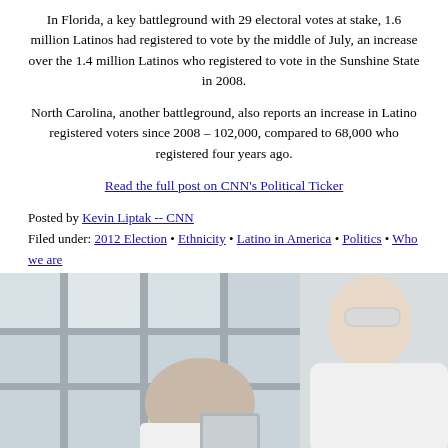In Florida, a key battleground with 29 electoral votes at stake, 1.6 million Latinos had registered to vote by the middle of July, an increase over the 1.4 million Latinos who registered to vote in the Sunshine State in 2008.
North Carolina, another battleground, also reports an increase in Latino registered voters since 2008 – 102,000, compared to 68,000 who registered four years ago.
Read the full post on CNN's Political Ticker
Posted by Kevin Liptak -- CNN
Filed under: 2012 Election • Ethnicity • Latino in America • Politics • Who we are
[Figure (photo): Two people in white lab coats and safety goggles looking at a document or tablet in a laboratory or office setting with large windows in the background.]